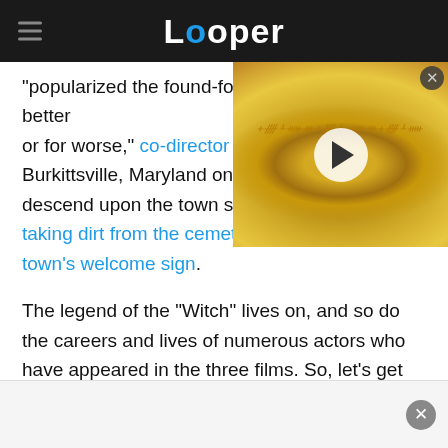Looper
"popularized the found-footage approach, for better or for worse," co-director M... Burkittsville, Maryland on th... descend upon the town sea... taking dirt from the cemetery and stealing the town's welcome sign.
[Figure (screenshot): Video thumbnail showing a golden ring with elvish engravings, with a circular play button overlay. A close button (×) is in the top right corner.]
The legend of the "Witch" lives on, and so do the careers and lives of numerous actors who have appeared in the three films. So, let's get out of the ...